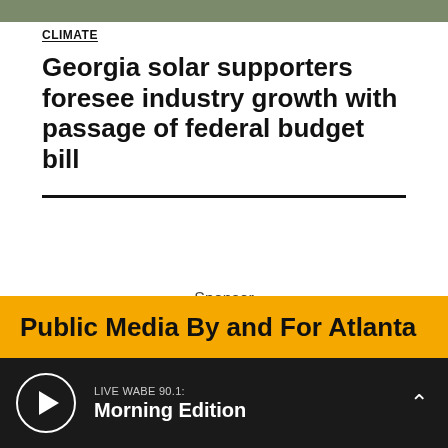[Figure (photo): Partial photo strip at the top of the page, showing vegetation/outdoor scene]
CLIMATE
Georgia solar supporters foresee industry growth with passage of federal budget bill
Sponsor
Public Media By and For Atlanta
LIVE WABE 90.1: Morning Edition